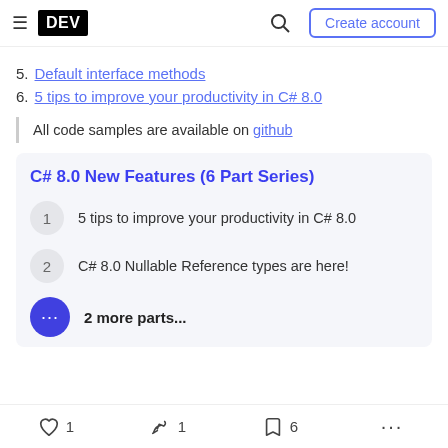DEV — Create account
5. Default interface methods
6. 5 tips to improve your productivity in C# 8.0
All code samples are available on github
C# 8.0 New Features (6 Part Series)
1  5 tips to improve your productivity in C# 8.0
2  C# 8.0 Nullable Reference types are here!
2 more parts...
1  1  6  ...